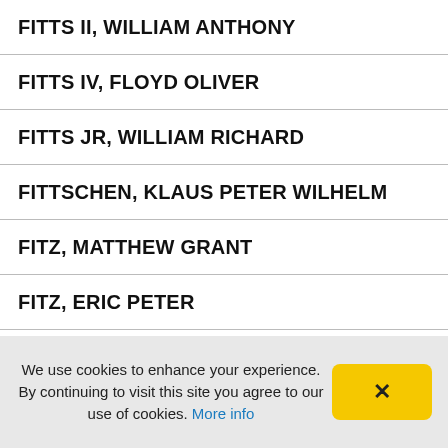FITTS II, WILLIAM ANTHONY
FITTS IV, FLOYD OLIVER
FITTS JR, WILLIAM RICHARD
FITTSCHEN, KLAUS PETER WILHELM
FITZ, MATTHEW GRANT
FITZ, ERIC PETER
FITZ, JENNA CAROLYN
FITZ, GRANT EDWIN
We use cookies to enhance your experience. By continuing to visit this site you agree to our use of cookies. More info